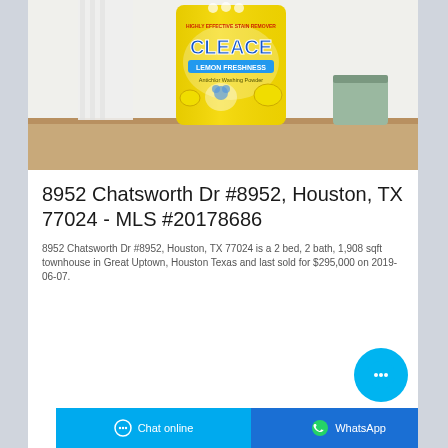[Figure (photo): Product photo of a yellow bag of CLEACE Lemon Freshness Highly Effective Stain Remover machine washing powder, displayed on a wooden surface with a white curtain and basket in the background.]
8952 Chatsworth Dr #8952, Houston, TX 77024 - MLS #20178686
8952 Chatsworth Dr #8952, Houston, TX 77024 is a 2 bed, 2 bath, 1,908 sqft townhouse in Great Uptown, Houston Texas and last sold for $295,000 on 2019-06-07.